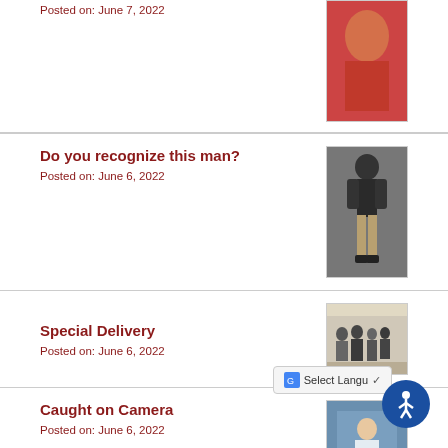Posted on: June 7, 2022
[Figure (photo): Photo of a person in a red shirt]
Do you recognize this man?
Posted on: June 6, 2022
[Figure (photo): Surveillance photo of a man walking, wearing dark jacket and tan pants]
Special Delivery
Posted on: June 6, 2022
[Figure (photo): Photo of group of people in indoor setting]
Caught on Camera
Posted on: June 6, 2022
[Figure (photo): Surveillance photo of a person]
National Microchip Month
Posted on: June 6, 2022